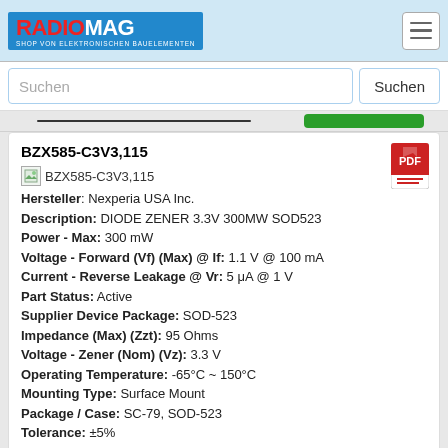[Figure (logo): Radiomag logo - shop von elektronischen Bauelementen]
Suchen
BZX585-C3V3,115
[Figure (photo): BZX585-C3V3,115 product image thumbnail]
Hersteller: Nexperia USA Inc.
Description: DIODE ZENER 3.3V 300MW SOD523
Power - Max: 300 mW
Voltage - Forward (Vf) (Max) @ If: 1.1 V @ 100 mA
Current - Reverse Leakage @ Vr: 5 μA @ 1 V
Part Status: Active
Supplier Device Package: SOD-523
Impedance (Max) (Zzt): 95 Ohms
Voltage - Zener (Nom) (Vz): 3.3 V
Operating Temperature: -65°C ~ 150°C
Mounting Type: Surface Mount
Package / Case: SC-79, SOD-523
Tolerance: ±5%
Packaging: Cut Tape (CT)
auf Bestellung 1556 Stücke 🚚
Lieferzeit 21-28 Tag (e)
auf Bestellung 26778 Stücke - Preis und Lieferfrist anzeigen